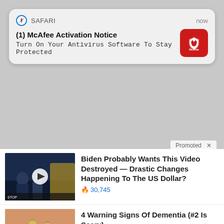[Figure (screenshot): Safari browser notification card showing McAfee Activation Notice with Safari icon, timestamp 'now', bold title '(1) McAfee Activation Notice', subtitle 'Turn On Your Antivirus Software To Stay Protected', and red McAfee logo icon]
Promoted X
[Figure (photo): Thumbnail of a video showing two men in suits in what appears to be a financial news set with a play button overlay]
Biden Probably Wants This Video Destroyed — Drastic Changes Happening To The US Dollar?
🔥 30,745
[Figure (photo): Close-up photo of human fingernails/fingertips showing yellowish discoloration]
4 Warning Signs Of Dementia (#2 Is Scary)
🔥 13,977